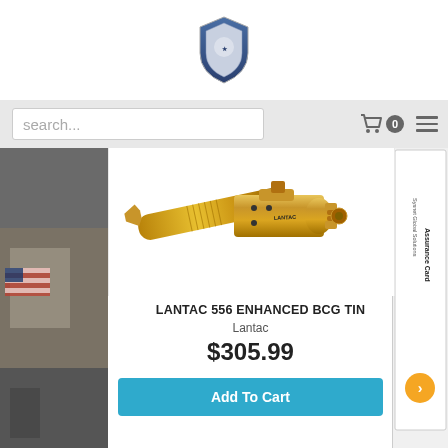[Figure (logo): Shield-shaped police/law enforcement logo badge at top center of page header]
search...  🛒 0  ≡
[Figure (photo): Gold/TIN-coated Lantac 556 Enhanced BCG (Bolt Carrier Group) component on white background]
LANTAC 556 ENHANCED BCG TIN
Lantac
$305.99
Add To Cart